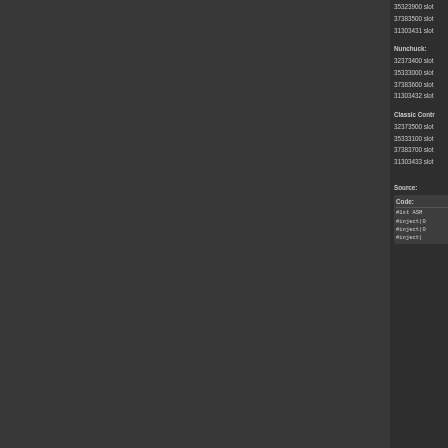35323900 slot
37383500 slot
31303431 slot
Nunchuck:
32373400 slot
35333000 slot
37383600 slot
31303432 slot
Classic Controller:
32373500 slot
35333100 slot
37383700 slot
31303433 slot
Source:
Code:
#1st ASM
#inject(0
#inject(0
#inject(